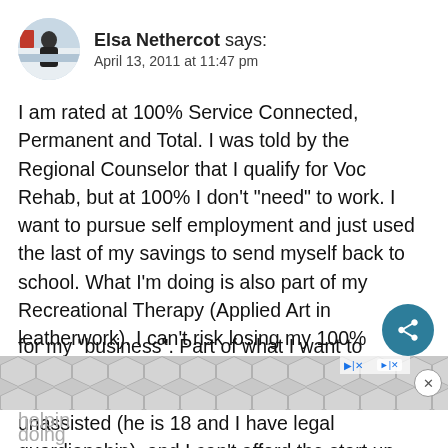Elsa Nethercot says: April 13, 2011 at 11:47 pm
I am rated at 100% Service Connected, Permanent and Total. I was told by the Regional Counselor that I qualify for Voc Rehab, but at 100% I don’t “need” to work. I want to pursue self employment and just used the last of my savings to send myself back to school. What I’m doing is also part of my Recreational Therapy (Applied Art in leatherwork). I can’t risk losing my 100% Disability Compensation – especially since I have an Autistic son who won’t be able to live unassisted (he is 18 and I have legal guardianship), and I can’t afford the start up costs for my “business”. Part of what I want to do includes helping... doing...